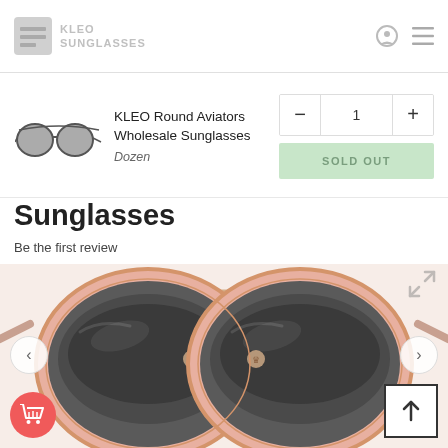KLEO Round Aviators (website header with logo and navigation icons)
[Figure (screenshot): Cart row showing thumbnail of round aviator sunglasses, product title 'KLEO Round Aviators Wholesale Sunglasses', variant 'Dozen', quantity selector showing 1 with minus and plus buttons, and a light green 'SOLD OUT' button]
Sunglasses
Be the first review
[Figure (photo): Close-up photo of KLEO round aviator sunglasses with pink/rose gold frames and dark gradient lenses, showing lion logo emblem on the bridge. Navigation arrows (< >) on left and right sides. Collapse/zoom icon in top right corner.]
[Figure (other): Red circular shopping cart FAB button in bottom left, and a white scroll-to-top button with upward arrow in bottom right]